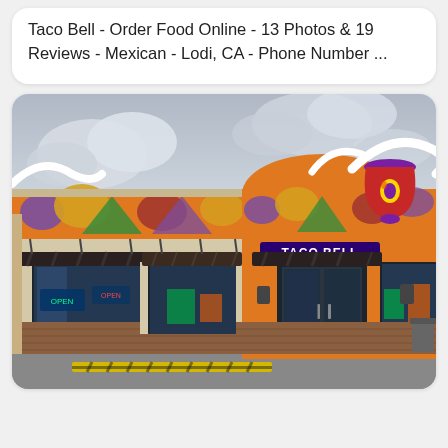Taco Bell - Order Food Online - 13 Photos & 19 Reviews - Mexican - Lodi, CA - Phone Number ...
[Figure (photo): Exterior photograph of a Taco Bell restaurant building. The building features the classic Taco Bell orange stucco facade with colorful geometric panels near the roofline, a large Taco Bell bell logo sign on the upper right, a 'TACO BELL' sign above the entrance, dark awnings over windows, brick base, glass entrance doors, and a partly cloudy sky. A yellow parking curb is visible in the foreground.]